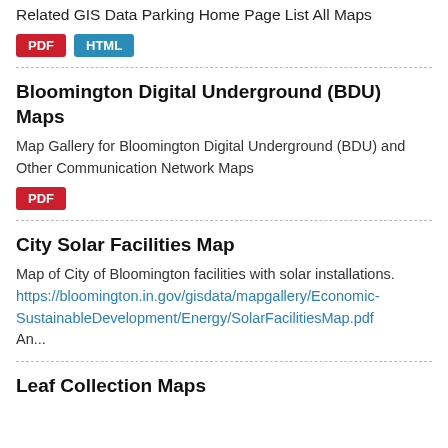Related GIS Data Parking Home Page List All Maps
[Figure (other): PDF and HTML buttons]
Bloomington Digital Underground (BDU) Maps
Map Gallery for Bloomington Digital Underground (BDU) and Other Communication Network Maps
[Figure (other): PDF button]
City Solar Facilities Map
Map of City of Bloomington facilities with solar installations. https://bloomington.in.gov/gisdata/mapgallery/Economic-SustainableDevelopment/Energy/SolarFacilitiesMap.pdf An...
Leaf Collection Maps